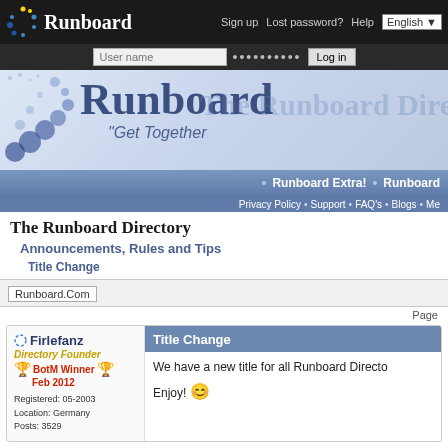Runboard — Sign up · Lost password? · Help · English
[Figure (screenshot): Runboard banner with logo dots, 'Runboard' title and 'Get Together' subtitle, overlaid with 'The Runboard Dire...' text]
Runboard Extra! • Runboard ... | Privacy Policy • Support • FAQ's • Blogs • Me...
The Runboard Directory
Announcements, Rules and Tips
Title Change
Runboard.Com
Page...
Firlefanz
Directory Founder
BotM Winner Feb 2012
Registered: 05-2003
Location: Germany
Posts: 3529
Title Change
We have a new title for all Runboard Directo...
Enjoy! 😊